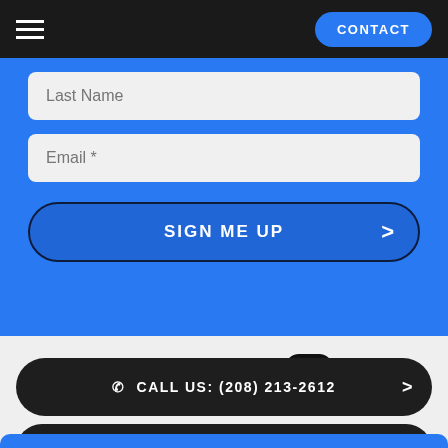☰   CONTACT
Last Name
Email *
SIGN ME UP >
[Figure (illustration): Social media icons: Facebook, Twitter, YouTube, Instagram]
CALL US: (208) 213-2612 >
EMAIL US >